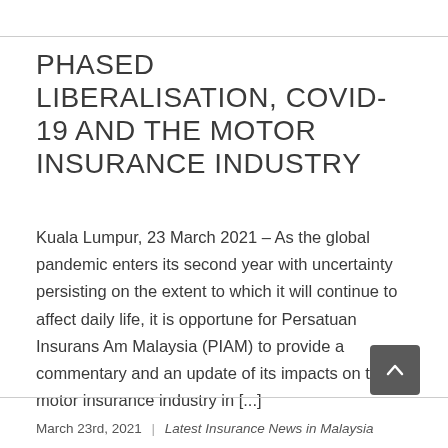PHASED LIBERALISATION, COVID-19 AND THE MOTOR INSURANCE INDUSTRY
Kuala Lumpur, 23 March 2021 – As the global pandemic enters its second year with uncertainty persisting on the extent to which it will continue to affect daily life, it is opportune for Persatuan Insurans Am Malaysia (PIAM) to provide a commentary and an update of its impacts on the motor insurance industry in [...]
March 23rd, 2021  |  Latest Insurance News in Malaysia